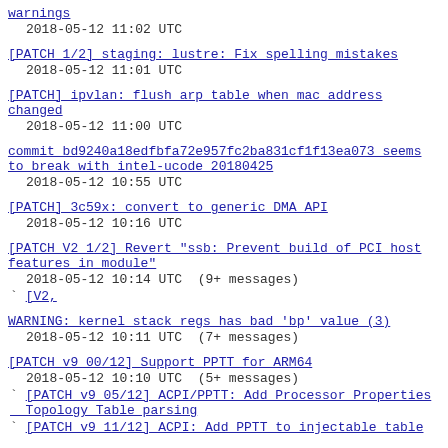warnings
  2018-05-12 11:02 UTC
[PATCH 1/2] staging: lustre: Fix spelling mistakes
  2018-05-12 11:01 UTC
[PATCH] ipvlan: flush arp table when mac address changed
  2018-05-12 11:00 UTC
commit bd9240a18edfbfa72e957fc2ba831cf1f13ea073 seems to break with intel-ucode 20180425
  2018-05-12 10:55 UTC
[PATCH] 3c59x: convert to generic DMA API
  2018-05-12 10:16 UTC
[PATCH V2 1/2] Revert "ssb: Prevent build of PCI host features in module"
  2018-05-12 10:14 UTC  (9+ messages)
` [V2,
WARNING: kernel stack regs has bad 'bp' value (3)
  2018-05-12 10:11 UTC  (7+ messages)
[PATCH v9 00/12] Support PPTT for ARM64
  2018-05-12 10:10 UTC  (5+ messages)
` [PATCH v9 05/12] ACPI/PPTT: Add Processor Properties Topology Table parsing
` [PATCH v9 11/12] ACPI: Add PPTT to injectable table